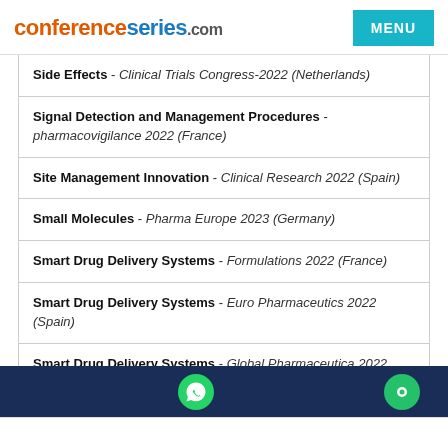conferenceseries.com
Side Effects - Clinical Trials Congress-2022 (Netherlands)
Signal Detection and Management Procedures - pharmacovigilance 2022 (France)
Site Management Innovation - Clinical Research 2022 (Spain)
Small Molecules - Pharma Europe 2023 (Germany)
Smart Drug Delivery Systems - Formulations 2022 (France)
Smart Drug Delivery Systems - Euro Pharmaceutics 2022 (Spain)
Smart Drug Delivery Systems - Global Pharmaceutica 2022 (France)